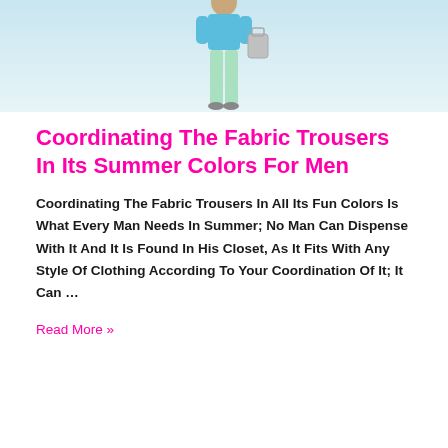[Figure (photo): A person wearing a light blue top, mint green wide-leg trousers, and carrying a bag, standing against a light blue-white background.]
Coordinating The Fabric Trousers In Its Summer Colors For Men
Coordinating The Fabric Trousers In All Its Fun Colors Is What Every Man Needs In Summer; No Man Can Dispense With It And It Is Found In His Closet, As It Fits With Any Style Of Clothing According To Your Coordination Of It; It Can …
Read More »